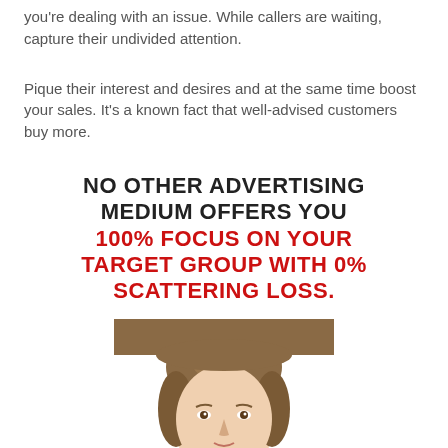you're dealing with an issue. While callers are waiting, capture their undivided attention.
Pique their interest and desires and at the same time boost your sales. It's a known fact that well-advised customers buy more.
NO OTHER ADVERTISING MEDIUM OFFERS YOU 100% FOCUS ON YOUR TARGET GROUP WITH 0% SCATTERING LOSS.
[Figure (photo): Head and shoulders photo of a young woman with brown hair, cropped at forehead level, shown from the top of the page bottom portion]